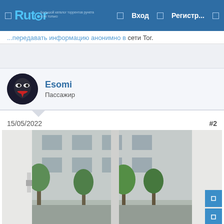Rutor — Вход — Регистр...
... передавать информацию анонимно в сети Tor.
Esomi
Пассажир
15/05/2022
#2
[Figure (photo): Photo showing a view through a window with white PVC window frame. Outside visible are green trees and a building facade. The window has a handle visible on the left side. Two blue navigation buttons visible on the right edge.]